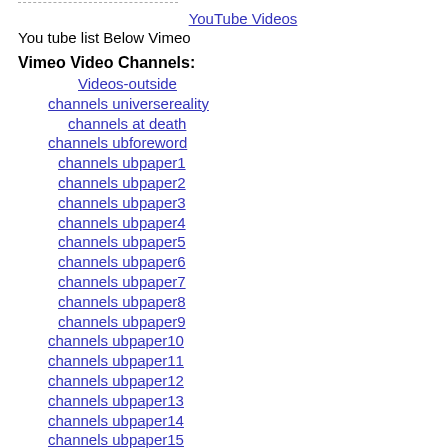YouTube Videos
You tube list Below Vimeo
Vimeo Video Channels:
Videos-outside
channels universereality
channels at death
channels ubforeword
channels ubpaper1
channels ubpaper2
channels ubpaper3
channels ubpaper4
channels ubpaper5
channels ubpaper6
channels ubpaper7
channels ubpaper8
channels ubpaper9
channels ubpaper10
channels ubpaper11
channels ubpaper12
channels ubpaper13
channels ubpaper14
channels ubpaper15
channels ubpaper16
channels ubpaper17
channels ubpaper18
channels ubpaper19
channels ubpaper20
channels ubpaper21
channels ubpaper22
channels ubpaper23